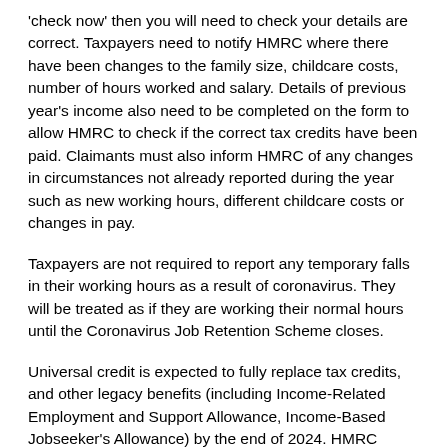'check now' then you will need to check your details are correct. Taxpayers need to notify HMRC where there have been changes to the family size, childcare costs, number of hours worked and salary. Details of previous year's income also need to be completed on the form to allow HMRC to check if the correct tax credits have been paid. Claimants must also inform HMRC of any changes in circumstances not already reported during the year such as new working hours, different childcare costs or changes in pay.
Taxpayers are not required to report any temporary falls in their working hours as a result of coronavirus. They will be treated as if they are working their normal hours until the Coronavirus Job Retention Scheme closes.
Universal credit is expected to fully replace tax credits, and other legacy benefits (including Income-Related Employment and Support Allowance, Income-Based Jobseeker's Allowance) by the end of 2024. HMRC restarted their managed migration process on 9 May 2022. This process was paused during the pandemic. This means that claimants will gradually be notified when required to move to Universal Credit. This process is due to be completed by 2024. Claimants can also elect to move from tax credits to Universal Credit if they would be financially better off. An independent benefits calculator can be used